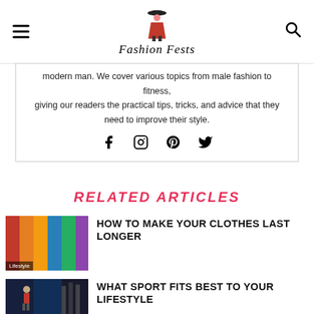Fashion Fests
modern man. We cover various topics from male fashion to fitness, giving our readers the practical tips, tricks, and advice that they need to improve their style.
[Figure (infographic): Social media icons: Facebook, Instagram, Pinterest, Twitter]
RELATED ARTICLES
[Figure (photo): Colorful clothes hanging on a rack - Lifestyle thumbnail]
HOW TO MAKE YOUR CLOTHES LAST LONGER
[Figure (photo): Man exercising in gym - Lifestyle thumbnail]
WHAT SPORT FITS BEST TO YOUR LIFESTYLE